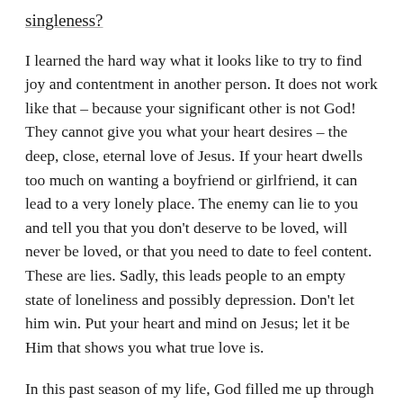singleness?
I learned the hard way what it looks like to try to find joy and contentment in another person. It does not work like that – because your significant other is not God! They cannot give you what your heart desires – the deep, close, eternal love of Jesus. If your heart dwells too much on wanting a boyfriend or girlfriend, it can lead to a very lonely place. The enemy can lie to you and tell you that you don't deserve to be loved, will never be loved, or that you need to date to feel content. These are lies. Sadly, this leads people to an empty state of loneliness and possibly depression. Don't let him win. Put your heart and mind on Jesus; let it be Him that shows you what true love is.
In this past season of my life, God filled me up through His Word and taught me that His love is greater than any a boy could give me. Preparing my heart and getting right with the Lord in my season of singleness has